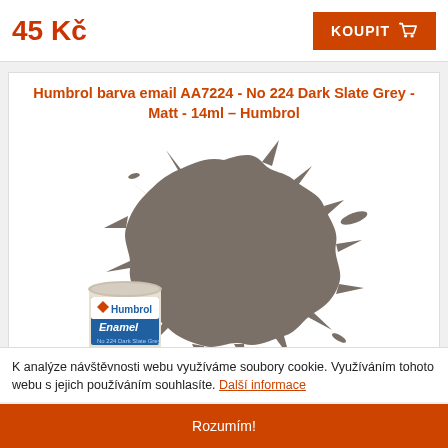45 Kč
KOUPIT
Humbrol barva email AA7224 - No 224 Dark Slate Grey - Matt - 14ml – Humbrol
[Figure (photo): Photo of Humbrol Enamel paint can (AA7224, Dark Slate Grey, Matt, 14ml) with a dark grey paint splatter in the background.]
14ml
A7224
K analýze návštěvnosti webu využíváme soubory cookie. Využíváním tohoto webu s jejich používáním souhlasíte. Další informace
Rozumím!